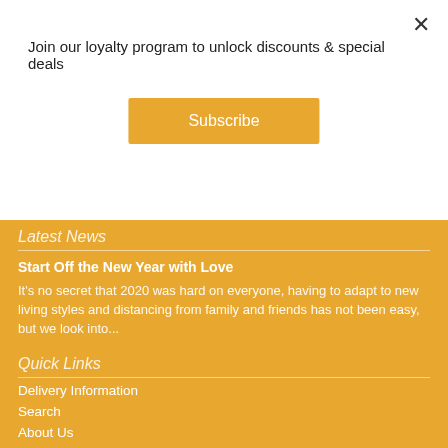Join our loyalty program to unlock discounts & special deals
Subscribe
Latest News
Start Off the New Year with Love
It's no secret that 2020 was hard on everyone, having to adapt to new living styles and distancing from family and friends has not been easy, but we look into...
Quick Links
Delivery Information
Search
About Us
Blog
Testimonials
Privacy Policy